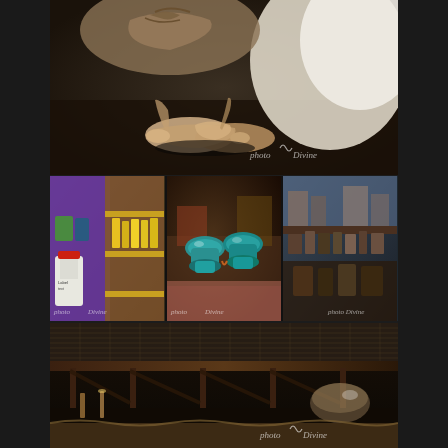[Figure (photo): Top photo: Ballet pointe shoes with ribbons and white fabric/dress on dark background, with 'photo Divine' watermark]
[Figure (photo): Middle-left photo: Shelves with yellow bottles and a white cleaning bottle with red cap in rustic/colorful setting]
[Figure (photo): Middle-center photo: Turquoise/teal glass insulators and colorful items on rustic surface]
[Figure (photo): Middle-right photo: Old rustic wall or shelf with vintage items]
[Figure (photo): Bottom large photo: Dark rustic interior with wooden rafters, metal grid/mesh ceiling, candles or bottles visible, with 'photo Divine' watermark]